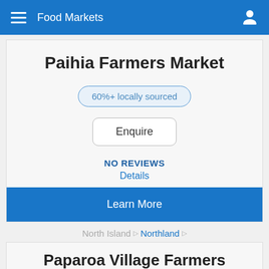Food Markets
Paihia Farmers Market
60%+ locally sourced
Enquire
NO REVIEWS
Details
Learn More
North Island ▷ Northland ▷
Paparoa Village Farmers Market